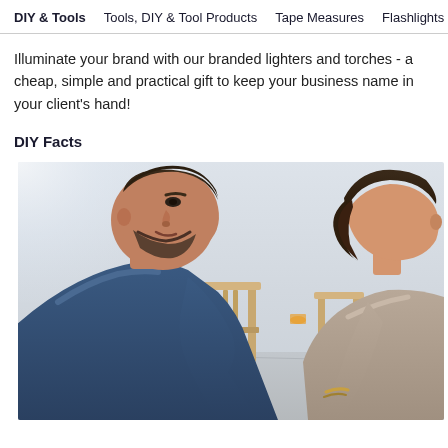DIY & Tools   Tools, DIY & Tool Products   Tape Measures   Flashlights   L
Illuminate your brand with our branded lighters and torches - a cheap, simple and practical gift to keep your business name in your client's hand!
DIY Facts
[Figure (photo): Two people (a bearded man in a blue shirt on the left and a woman with short dark hair in a grey/tan top on the right) leaning over and looking down at something, in a bright room with wooden chairs in the background.]